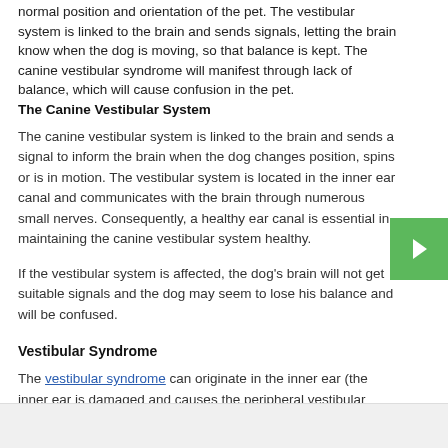normal position and orientation of the pet. The vestibular system is linked to the brain and sends signals, letting the brain know when the dog is moving, so that balance is kept. The canine vestibular syndrome will manifest through lack of balance, which will cause confusion in the pet.
The Canine Vestibular System
The canine vestibular system is linked to the brain and sends a signal to inform the brain when the dog changes position, spins or is in motion. The vestibular system is located in the inner ear canal and communicates with the brain through numerous small nerves. Consequently, a healthy ear canal is essential in maintaining the canine vestibular system healthy.
If the vestibular system is affected, the dog's brain will not get suitable signals and the dog may seem to lose his balance and will be confused.
Vestibular Syndrome
The vestibular syndrome can originate in the inner ear (the inner ear is damaged and causes the peripheral vestibular syndrome) or